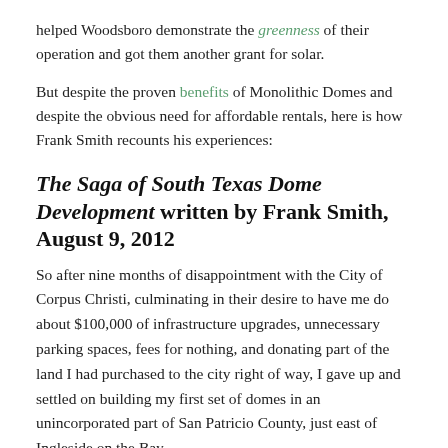helped Woodsboro demonstrate the greenness of their operation and got them another grant for solar.
But despite the proven benefits of Monolithic Domes and despite the obvious need for affordable rentals, here is how Frank Smith recounts his experiences:
The Saga of South Texas Dome Development written by Frank Smith, August 9, 2012
So after nine months of disappointment with the City of Corpus Christi, culminating in their desire to have me do about $100,000 of infrastructure upgrades, unnecessary parking spaces, fees for nothing, and donating part of the land I had purchased to the city right of way, I gave up and settled on building my first set of domes in an unincorporated part of San Patricio County, just east of Ingleside on the Bay.